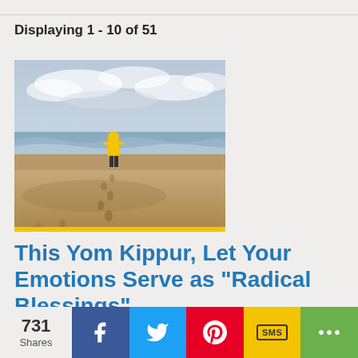Displaying 1 - 10 of 51
[Figure (photo): Person in yellow rain jacket walking on a sandy beach toward the ocean, with footprints in the sand behind them. Cloudy sky overhead. Yellow accent bar at the bottom of the image.]
This Yom Kippur, Let Your Emotions Serve as "Radical Blessings"
731 Shares